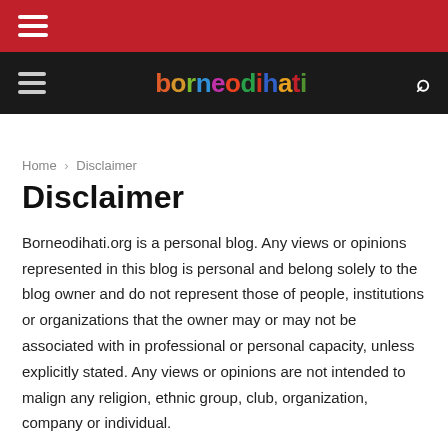borneodihati — navigation bar with hamburger menu and search icon
Home › Disclaimer
Disclaimer
Borneodihati.org is a personal blog. Any views or opinions represented in this blog is personal and belong solely to the blog owner and do not represent those of people, institutions or organizations that the owner may or may not be associated with in professional or personal capacity, unless explicitly stated. Any views or opinions are not intended to malign any religion, ethnic group, club, organization, company or individual.